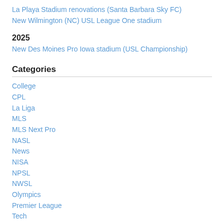La Playa Stadium renovations (Santa Barbara Sky FC)
New Wilmington (NC) USL League One stadium
2025
New Des Moines Pro Iowa stadium (USL Championship)
Categories
College
CPL
La Liga
MLS
MLS Next Pro
NASL
News
NISA
NPSL
NWSL
Olympics
Premier League
Tech